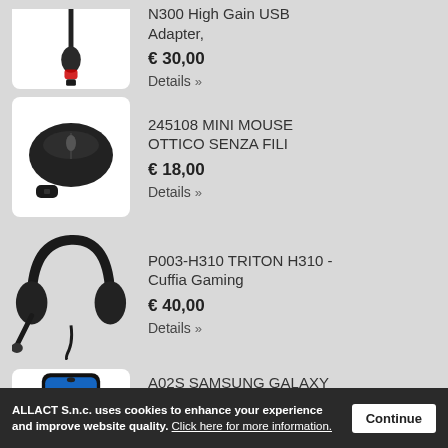[Figure (photo): USB WiFi adapter dongle with antenna, shown on white background (partially visible at top)]
N300 High Gain USB Adapter,
€ 30,00
Details »
[Figure (photo): Mini wireless optical mouse in black with USB nano receiver, on white background]
245108 MINI MOUSE OTTICO SENZA FILI
€ 18,00
Details »
[Figure (photo): Black gaming headset (Triton H310) with microphone boom arm, coiled cable]
P003-H310 TRITON H310 - Cuffia Gaming
€ 40,00
Details »
[Figure (photo): Samsung Galaxy A02S smartphone showing colorful screen]
A02S SAMSUNG GALAXY
€ 200,00
ALLACT S.n.c. uses cookies to enhance your experience and improve website quality. Click here for more information.